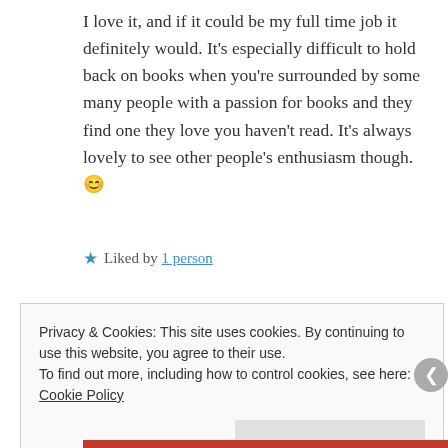I love it, and if it could be my full time job it definitely would. It's especially difficult to hold back on books when you're surrounded by some many people with a passion for books and they find one they love you haven't read. It's always lovely to see other people's enthusiasm though. 😊
★ Liked by 1 person
Privacy & Cookies: This site uses cookies. By continuing to use this website, you agree to their use.
To find out more, including how to control cookies, see here: Cookie Policy
Close and accept